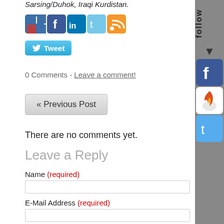He is an advocate of Justice, Democracy, Sarsing/Duhok, Iraqi Kurdistan.
[Figure (infographic): Social share icons: Delicious, Facebook, LinkedIn, Twitter, RSS feed]
[Figure (infographic): Tweet button with Twitter bird icon]
0 Comments - Leave a comment!
[Figure (infographic): Previous Post navigation button]
There are no comments yet.
Leave a Reply
Name (required)
E-Mail Address (required)
[Figure (infographic): Sidebar with follow label, arrow, Facebook icon, Stumbleupon/fire icon, Twitter icon on grey background]